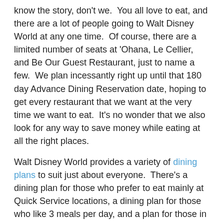know the story, don't we.  You all love to eat, and there are a lot of people going to Walt Disney World at any one time.  Of course, there are a limited number of seats at 'Ohana, Le Cellier, and Be Our Guest Restaurant, just to name a few.  We plan incessantly right up until that 180 day Advance Dining Reservation date, hoping to get every restaurant that we want at the very time we want to eat.  It's no wonder that we also look for any way to save money while eating at all the right places.
Walt Disney World provides a variety of dining plans to suit just about everyone.  There's a dining plan for those who prefer to eat mainly at Quick Service locations, a dining plan for those who like 3 meals per day, and a plan for those in between who like a mixture of Table Service and Quick Service locations.  Walt Disney World dining plans can be flexible and can save people money with a little planning.  One main way to save money is to make sure that all dining credits are used.  Plus, most of your dining costs can be prepaid this way.
Disneyland has a dining plan, too, but it is very different from Walt Disney World's plans.  "Dine in the Magic" meal plans come